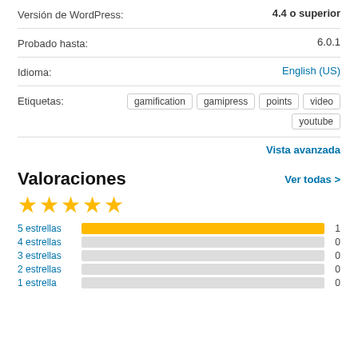Versión de WordPress: 4.4 o superior
Probado hasta: 6.0.1
Idioma: English (US)
Etiquetas: gamification gamipress points video youtube
Vista avanzada
Valoraciones
Ver todas >
[Figure (other): 5 gold stars rating]
[Figure (bar-chart): Rating breakdown]